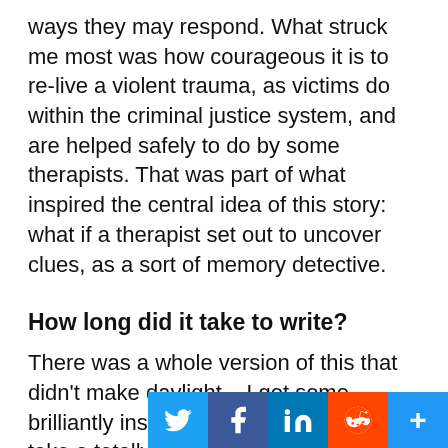ways they may respond. What struck me most was how courageous it is to re-live a violent trauma, as victims do within the criminal justice system, and are helped safely to do by some therapists. That was part of what inspired the central idea of this story: what if a therapist set out to uncover clues, as a sort of memory detective.
How long did it take to write?
There was a whole version of this that didn't make daylight – I got some brilliantly insightful notes and decided to take a totally new approach. Then this one was about two months of planning and outlining, and a month to complete it. Revisions and gnashing of teeth ran through